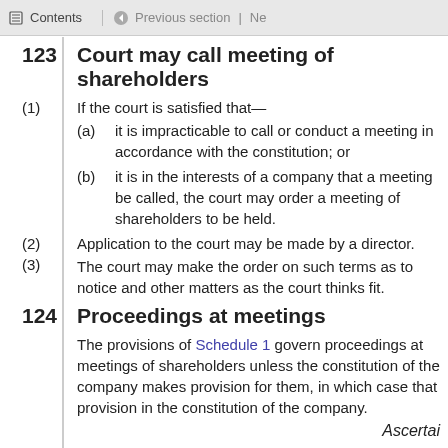Contents | Previous section | Ne
123  Court may call meeting of shareholders
(1)  If the court is satisfied that—
(a)  it is impracticable to call or conduct a meeting in accordance with the constitution; or
(b)  it is in the interests of a company that a meeting be held, the court may order a meeting of shareholders to be held.
(2)  Application to the court may be made by a director.
(3)  The court may make the order on such terms as to notice and other matters as the court thinks fit.
124  Proceedings at meetings
The provisions of Schedule 1 govern proceedings at meetings of shareholders unless the constitution of the company makes provision for them, in which case that provision in the constitution of the company.
Ascertai
125  Shareholders entitled to receive distribu